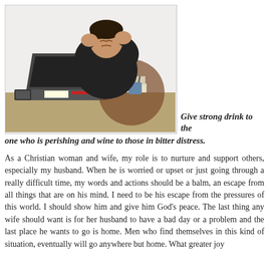[Figure (photo): A man in a black t-shirt sitting at a desk with a laptop, holding his head in both hands in a stressed/frustrated pose. Books and papers are on the desk. White background.]
Give strong drink to the one who is perishing and wine to those in bitter distress.
As a Christian woman and wife, my role is to nurture and support others, especially my husband. When he is worried or upset or just going through a really difficult time, my words and actions should be a balm, an escape from all things that are on his mind. I need to be his escape from the pressures of this world. I should show him and give him God's peace. The last thing any wife should want is for her husband to have a bad day or a problem and the last place he wants to go is home. Men who find themselves in this kind of situation, eventually will go anywhere but home. What greater joy